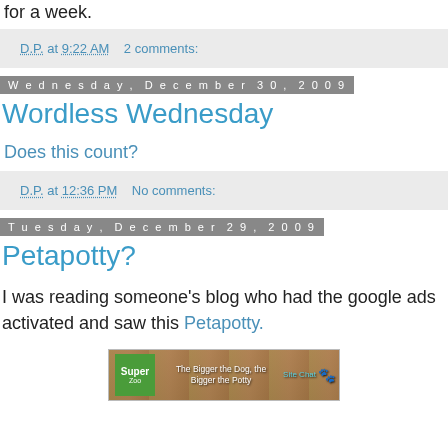for a week.
D.P. at 9:22 AM   2 comments:
Wednesday, December 30, 2009
Wordless Wednesday
Does this count?
D.P. at 12:36 PM   No comments:
Tuesday, December 29, 2009
Petapotty?
I was reading someone's blog who had the google ads activated and saw this Petapotty.
[Figure (photo): Advertisement image for Petapotty product showing a green box with Super text, product description, and a cat image on a wooden fence background]